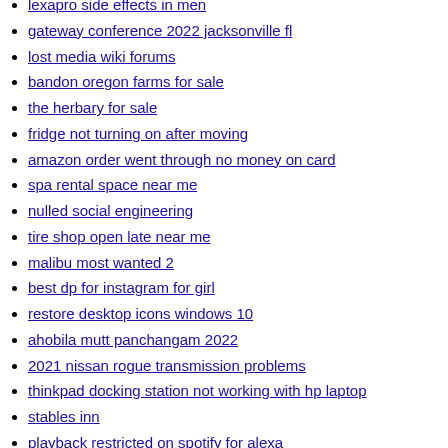lexapro side effects in men
gateway conference 2022 jacksonville fl
lost media wiki forums
bandon oregon farms for sale
the herbary for sale
fridge not turning on after moving
amazon order went through no money on card
spa rental space near me
nulled social engineering
tire shop open late near me
malibu most wanted 2
best dp for instagram for girl
restore desktop icons windows 10
ahobila mutt panchangam 2022
2021 nissan rogue transmission problems
thinkpad docking station not working with hp laptop
stables inn
playback restricted on spotify for alexa
fresh fortnite username
100 gecs controversy
how to play subtitles on tv usb
god of pride
scan receipts for money
dixie youth baseball charleston
fbi most wanted missouri
cam timing vs ignition timing